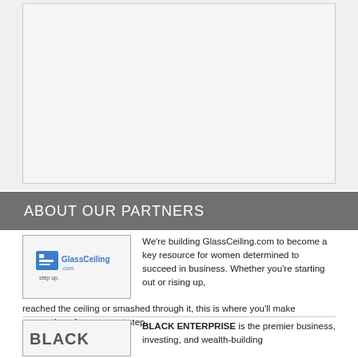[Figure (other): Large empty gray image placeholder area at the top of the page]
ABOUT OUR PARTNERS
[Figure (logo): GlassCeiling.com logo with icon and tagline 'step up.']
We're building GlassCeiling.com to become a key resource for women determined to succeed in business. Whether you're starting out or rising up, reached the ceiling or smashed through it, this is where you'll make connections for your next step.
[Figure (logo): BLACK ENTERPRISE logo]
BLACK ENTERPRISE is the premier business, investing, and wealth-building